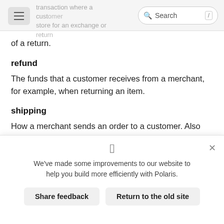transaction where a customer visits a store for an exchange or refund... of a return. [Search bar with / shortcut]
of a return.
refund
The funds that a customer receives from a merchant, for example, when returning an item.
shipping
How a merchant sends an order to a customer. Also known as the shipping method.
We've made some improvements to our website to help you build more efficiently with Polaris.